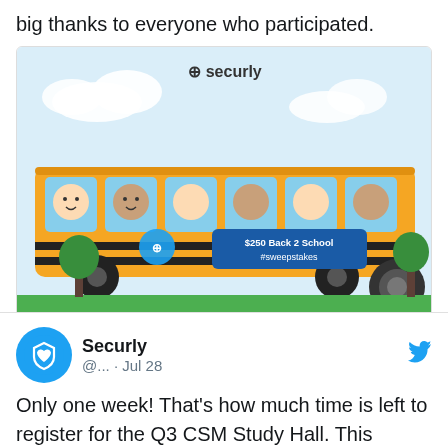big thanks to everyone who participated.
[Figure (screenshot): Securly Back 2 School $250 Sweepstakes promotional image showing a school bus with cartoon student faces in windows and a blue banner reading '$250 Back 2 School Sweepstakes' with the Securly logo at top.]
8 comments, 19 likes
Securly @... · Jul 28
Only one week! That's how much time is left to register for the Q3 CSM Study Hall. This webinar will be about safety console best practices and how to be prepared for the next school term. Our solution